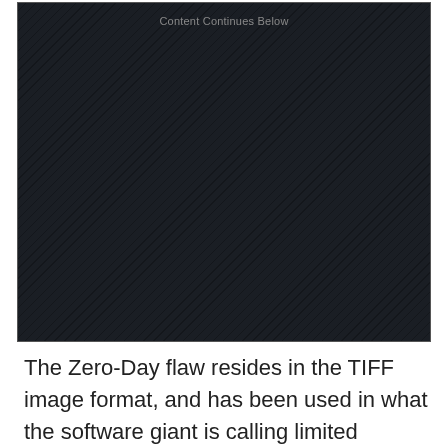[Figure (other): Dark patterned advertisement placeholder box with diagonal stripe texture and centered text 'Content Continues Below']
The Zero-Day flaw resides in the TIFF image format, and has been used in what the software giant is calling limited attacks. According to their